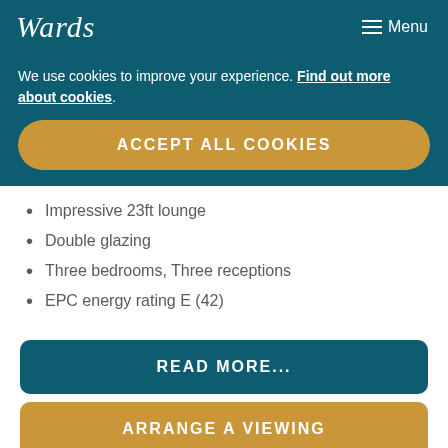Wards | Menu
We use cookies to improve your experience. Find out more about cookies.
ACCEPT ALL COOKIES
Impressive 23ft lounge
Double glazing
Three bedrooms, Three receptions
EPC energy rating E (42)
READ MORE...
ARRANGE A VIEWING